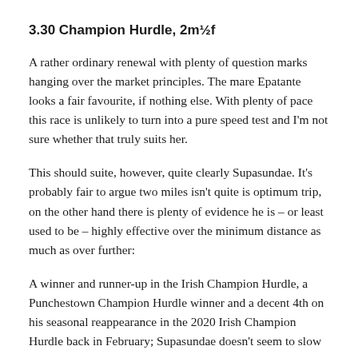3.30 Champion Hurdle, 2m½f
A rather ordinary renewal with plenty of question marks hanging over the market principles. The mare Epatante looks a fair favourite, if nothing else. With plenty of pace this race is unlikely to turn into a pure speed test and I'm not sure whether that truly suits her.
This should suite, however, quite clearly Supasundae. It's probably fair to argue two miles isn't quite is optimum trip, on the other hand there is plenty of evidence he is – or least used to be – highly effective over the minimum distance as much as over further:
A winner and runner-up in the Irish Champion Hurdle, a Punchestown Champion Hurdle winner and a decent 4th on his seasonal reappearance in the 2020 Irish Champion Hurdle back in February; Supasundae doesn't seem to slow